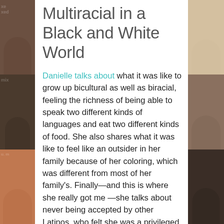[Figure (photo): Left strip of three portrait photos of multiracial individuals]
Multiracial in a Black and White World
Danielle talks about what it was like to grow up bicultural as well as biracial, feeling the richness of being able to speak two different kinds of languages and eat two different kinds of food. She also shares what it was like to feel like an outsider in her family because of her coloring, which was different from most of her family's. Finally—and this is where she really got me—she talks about never being accepted by other Latinos, who felt she was a privileged brat because she looked white and had different cultural experiences—she
[Figure (photo): Right strip of three portrait photos of multiracial individuals]